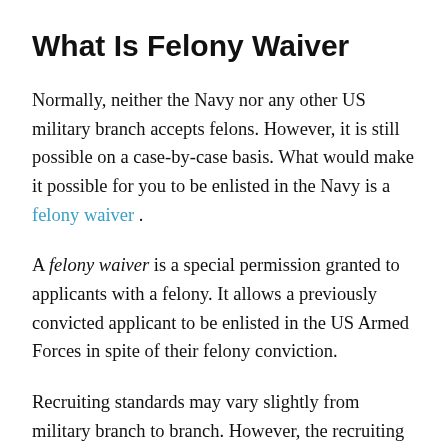What Is Felony Waiver
Normally, neither the Navy nor any other US military branch accepts felons. However, it is still possible on a case-by-case basis. What would make it possible for you to be enlisted in the Navy is a felony waiver.
A felony waiver is a special permission granted to applicants with a felony. It allows a previously convicted applicant to be enlisted in the US Armed Forces in spite of their felony conviction.
Recruiting standards may vary slightly from military branch to branch. However, the recruiting standards are strict across all military branches,